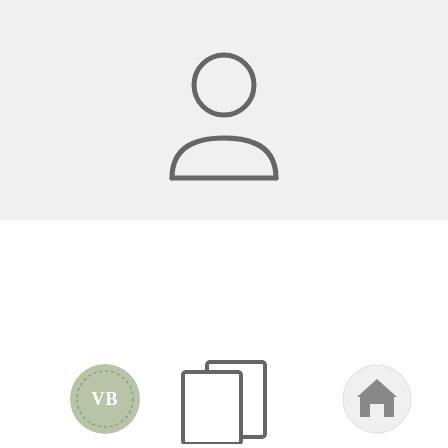[Figure (illustration): Person/user silhouette icon (outline style) on light gray background]
CASE CARDS
[Figure (logo): VB monogram logo in a muted green circular badge]
[Figure (illustration): Two overlapping document/card rectangles icon (outline style)]
[Figure (illustration): Home/house icon inside a light gray circle]